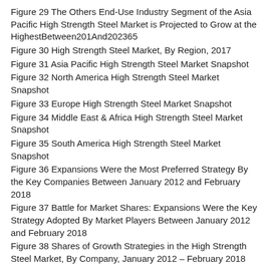Figure 29 The Others End-Use Industry Segment of the Asia Pacific High Strength Steel Market is Projected to Grow at the HighestBetween201And202365
Figure 30 High Strength Steel Market, By Region, 2017
Figure 31 Asia Pacific High Strength Steel Market Snapshot
Figure 32 North America High Strength Steel Market Snapshot
Figure 33 Europe High Strength Steel Market Snapshot
Figure 34 Middle East & Africa High Strength Steel Market Snapshot
Figure 35 South America High Strength Steel Market Snapshot
Figure 36 Expansions Were the Most Preferred Strategy By the Key Companies Between January 2012 and February 2018
Figure 37 Battle for Market Shares: Expansions Were the Key Strategy Adopted By Market Players Between January 2012 and February 2018
Figure 38 Shares of Growth Strategies in the High Strength Steel Market, By Company, January 2012 – February 2018